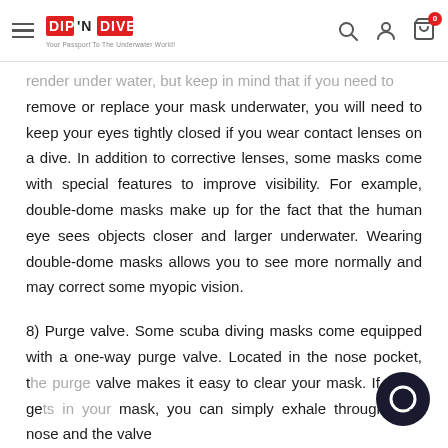DIP 'N DIVE — Your Passport To The Underwater World!
remove or replace your mask underwater, you will need to keep your eyes tightly closed if you wear contact lenses on a dive. In addition to corrective lenses, some masks come with special features to improve visibility. For example, double-dome masks make up for the fact that the human eye sees objects closer and larger underwater. Wearing double-dome masks allows you to see more normally and may correct some myopic vision.
8) Purge valve. Some scuba diving masks come equipped with a one-way purge valve. Located in the nose pocket, the purge valve makes it easy to clear your mask. If water gets in your mask, you can simply exhale through your nose and the valve will...